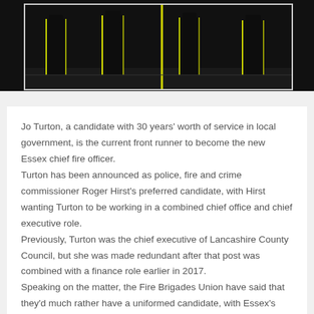[Figure (photo): Dark photograph showing silhouettes of people standing, likely firefighters or officials, with high-contrast bright outlines against dark background]
Jo Turton, a candidate with 30 years' worth of service in local government, is the current front runner to become the new Essex chief fire officer. Turton has been announced as police, fire and crime commissioner Roger Hirst's preferred candidate, with Hirst wanting Turton to be working in a combined chief office and chief executive role. Previously, Turton was the chief executive of Lancashire County Council, but she was made redundant after that post was combined with a finance role earlier in 2017. Speaking on the matter, the Fire Brigades Union have said that they'd much rather have a uniformed candidate, with Essex's existing chief fire officer – Adam Eckley – set to retire next year. After being asked to comment on the matter, Hirst was on hand